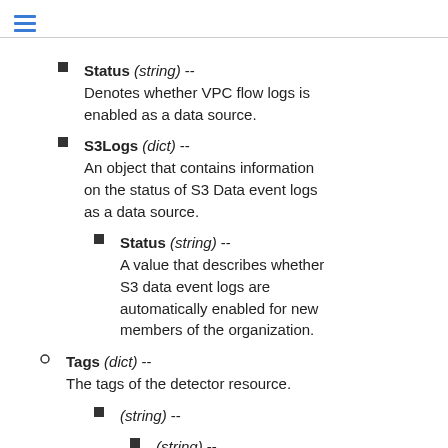≡
Status (string) -- Denotes whether VPC flow logs is enabled as a data source.
S3Logs (dict) -- An object that contains information on the status of S3 Data event logs as a data source.
Status (string) -- A value that describes whether S3 data event logs are automatically enabled for new members of the organization.
Tags (dict) -- The tags of the detector resource.
(string) --
(string) --